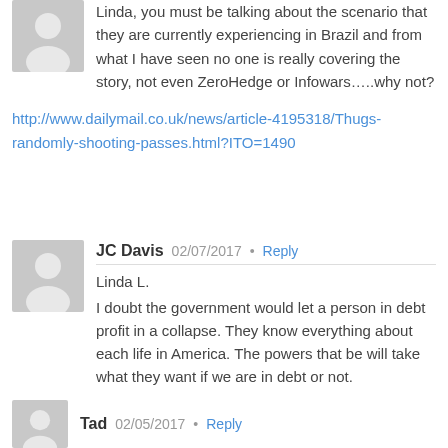Linda, you must be talking about the scenario that they are currently experiencing in Brazil and from what I have seen no one is really covering the story, not even ZeroHedge or Infowars…..why not?
http://www.dailymail.co.uk/news/article-4195318/Thugs-randomly-shooting-passes.html?ITO=1490
JC Davis  02/07/2017 • Reply
Linda L.
I doubt the government would let a person in debt profit in a collapse. They know everything about each life in America. The powers that be will take what they want if we are in debt or not.
Tad  02/05/2017 • Reply